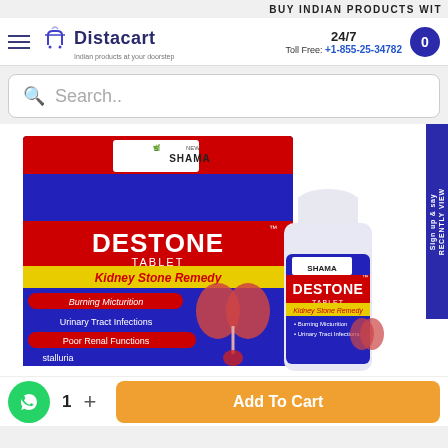BUY INDIAN PRODUCTS WIT
[Figure (logo): Distacart logo with shopping bag icon and tagline 'Indian products at your doorstep']
24/7 Toll Free: +1-855-25-34782
Search..
[Figure (photo): Shama Destone Tablet product box and bottle. Box shows: SHAMA DESTONE TABLET - Kidney Stone Remedy. Features: Burning Micturition, Urinary Tract Infections, Poor Renal Functions, Crystalluria. Bottle shows same branding.]
Sign up & say RECENTLY VIEW
1  +  Add To Cart